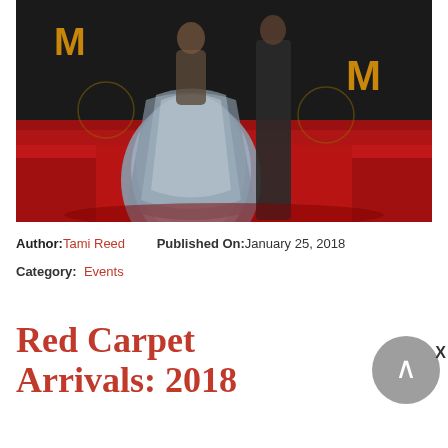[Figure (photo): Red carpet event photo showing people in formal attire. One person wearing a large silver/blue brocade gown. Black backdrop with gold McDonald's logos visible. Red carpet on the floor.]
Author: Tami Reed   Published On: January 25, 2018
Category:  Events
Red Carpet Arrivals: 2018